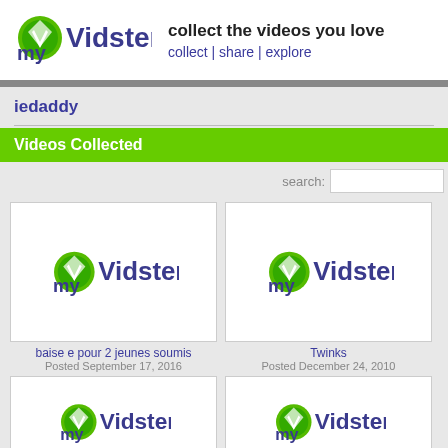[Figure (logo): myVidster logo with green circular checkmark icon and text 'myVidster']
collect the videos you love
collect | share | explore
iedaddy
Videos Collected
[Figure (screenshot): Video thumbnail showing myVidster logo placeholder]
baise e pour 2 jeunes soumis
Posted September 17, 2016
[Figure (screenshot): Video thumbnail showing myVidster logo placeholder]
Twinks
Posted December 24, 2010
[Figure (screenshot): Video thumbnail showing myVidster logo placeholder]
[Figure (screenshot): Video thumbnail showing myVidster logo placeholder]